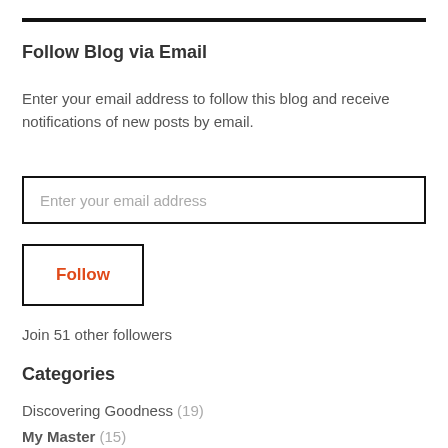Follow Blog via Email
Enter your email address to follow this blog and receive notifications of new posts by email.
[Figure (screenshot): Email input field with placeholder text 'Enter your email address']
[Figure (screenshot): Follow button with orange text 'Follow' inside a black border box]
Join 51 other followers
Categories
Discovering Goodness (19)
My Master (15)